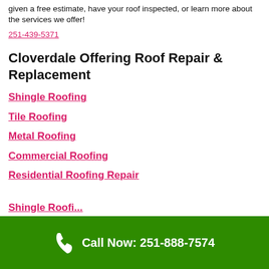given a free estimate, have your roof inspected, or learn more about the services we offer!
251-439-5371
Cloverdale Offering Roof Repair & Replacement
Shingle Roofing
Tile Roofing
Metal Roofing
Commercial Roofing
Residential Roofing Repair
Shingle Roofing (partial)
Call Now: 251-888-7574